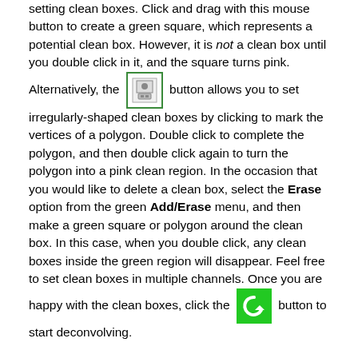setting clean boxes. Click and drag with this mouse button to create a green square, which represents a potential clean box. However, it is not a clean box until you double click in it, and the square turns pink. Alternatively, the [icon] button allows you to set irregularly-shaped clean boxes by clicking to mark the vertices of a polygon. Double click to complete the polygon, and then double click again to turn the polygon into a pink clean region. In the occasion that you would like to delete a clean box, select the Erase option from the green Add/Erase menu, and then make a green square or polygon around the clean box. In this case, when you double click, any clean boxes inside the green region will disappear. Feel free to set clean boxes in multiple channels. Once you are happy with the clean boxes, click the [icon] button to start deconvolving.
Clean will then clean npercycle iterations (here set to 20) from each channel with a clean box in it. When it has completed this, the viewer will become active again and you can place more